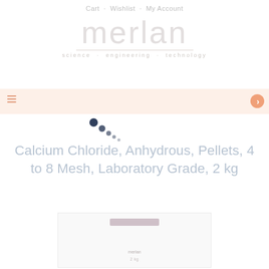Cart · Wishlist · My Account
[Figure (logo): Merlan logo with tagline 'Science · Engineering · Technology' in light grey]
[Figure (screenshot): Navigation banner with hamburger menu icon on left and arrow button on right, peach/cream background]
[Figure (infographic): Loading animation dots in dark navy blue, arranged diagonally]
Calcium Chloride, Anhydrous, Pellets, 4 to 8 Mesh, Laboratory Grade, 2 kg
[Figure (photo): Product image of Calcium Chloride packaging, partially visible at bottom of page]